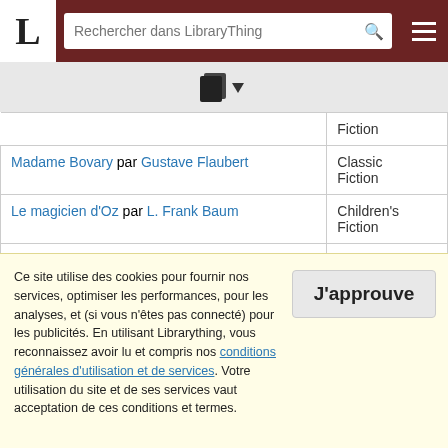LibraryThing - Rechercher dans LibraryThing
| Titre / Auteur | Genre |
| --- | --- |
| Madame Bovary par Gustave Flaubert | Classic Fiction |
| Le magicien d'Oz par L. Frank Baum | Children's Fiction |
| Le magicien de Lublin par Isaac Bashevis Singer | Modern Fiction |
| La main gauche de la nuit par Ursula K. Le Guin | Science |
Ce site utilise des cookies pour fournir nos services, optimiser les performances, pour les analyses, et (si vous n'êtes pas connecté) pour les publicités. En utilisant Librarything, vous reconnaissez avoir lu et compris nos conditions générales d'utilisation et de services. Votre utilisation du site et de ses services vaut acceptation de ces conditions et termes. J'approuve